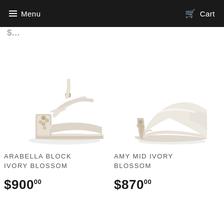Menu   Cart
$900
[Figure (photo): Arabella Block Ivory Blossom - ivory satin block heel sandal with cross straps and floral embellishment on heel]
[Figure (photo): Amy Mid Ivory Blossom - ivory satin mid-height court pump with floral embellishment on heel]
ARABELLA BLOCK IVORY BLOSSOM
$900.00
AMY MID IVORY BLOSSOM
$870.00